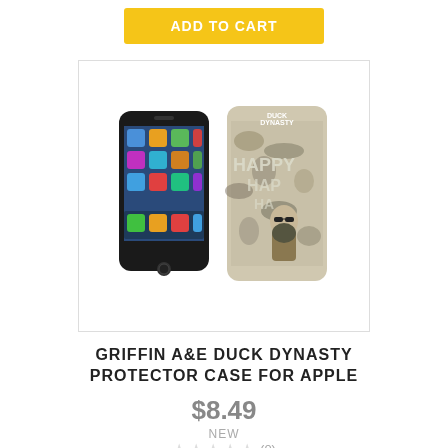ADD TO CART
[Figure (photo): Product photo showing two iPhone cases: one black iPhone and one Duck Dynasty themed case with 'HAPPY HAPPY HAPPY' text and a bearded man in camouflage.]
GRIFFIN A&E DUCK DYNASTY PROTECTOR CASE FOR APPLE
$8.49
NEW
(0)